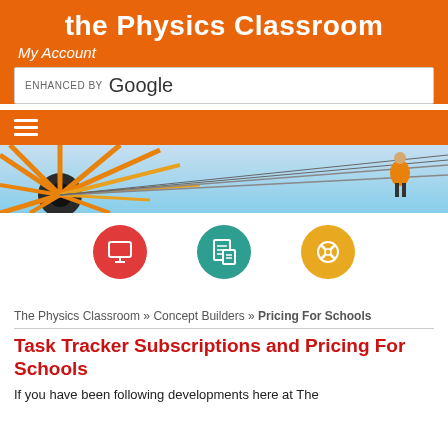the Physics Classroom
My Account
[Figure (screenshot): Google search bar with 'ENHANCED BY Google' text]
[Figure (photo): Hero image showing a carnival ride or wheel structure with metal spokes against a blue sky, with a person visible on the right side]
[Figure (infographic): Three circular icon buttons: red circle with monitor/screen icon, teal circle with document/checklist icon, yellow circle with tools/wrench icon]
The Physics Classroom » Concept Builders » Pricing For Schools
Task Tracker Subscriptions and Pricing For Schools
If you have been following developments here at The